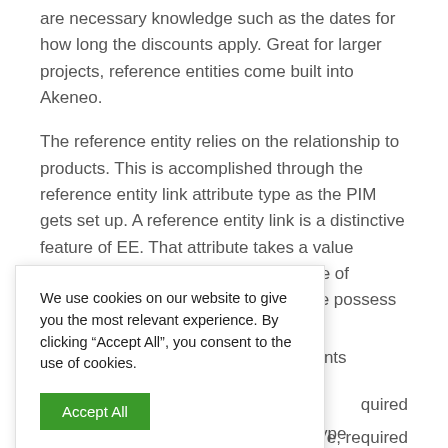are necessary knowledge such as the dates for how long the discounts apply. Great for larger projects, reference entities come built into Akeneo.
The reference entity relies on the relationship to products. This is accomplished through the reference entity link attribute type as the PIM gets set up. A reference entity link is a distinctive feature of EE. That attribute takes a value straight from a table which has a piece of information tied to a product, yet some possess information that live independent
We use cookies on our website to give you the most relevant experience. By clicking “Accept All”, you consent to the use of cookies.
Accept All
scounts
quired
e, required
Discount End Date attribute type